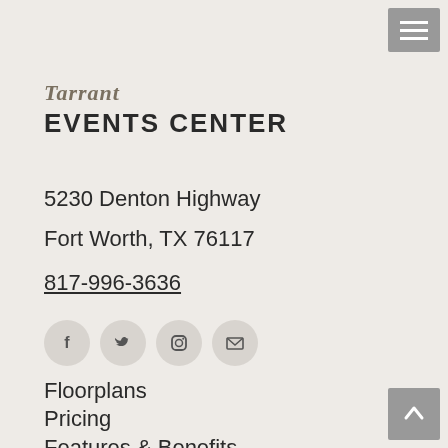[Figure (screenshot): Hamburger menu button (three white lines on grey background) in top right corner]
[Figure (logo): Tarrant Events Center logo with italic script 'Tarrant' above bold uppercase 'EVENTS CENTER']
5230 Denton Highway
Fort Worth, TX 76117
817-996-3636
[Figure (infographic): Four circular social media icons: Facebook (f), Twitter (bird), Instagram (camera), Email (envelope)]
Floorplans
Pricing
Features & Benefits
FAQ